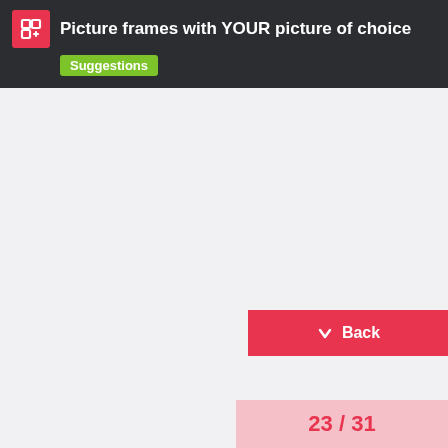Picture frames with YOUR picture of choice
Suggestions
Back
23 / 31